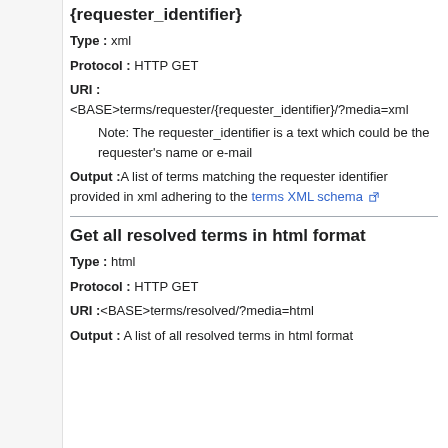{requester_identifier}
Type : xml
Protocol : HTTP GET
URI :
<BASE>terms/requester/{requester_identifier}/?media=xml
Note: The requester_identifier is a text which could be the requester's name or e-mail
Output :A list of terms matching the requester identifier provided in xml adhering to the terms XML schema
Get all resolved terms in html format
Type : html
Protocol : HTTP GET
URI :<BASE>terms/resolved/?media=html
Output : A list of all resolved terms in html format